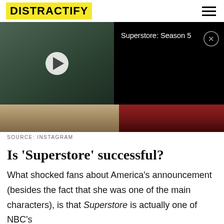DISTRACTIFY
[Figure (screenshot): Video player showing a man in a dark shirt with musical instruments in background, overlaid with a black panel showing 'Superstore: Season 5' text and a close button]
SOURCE: INSTAGRAM
Is 'Superstore' successful?
What shocked fans about America's announcement (besides the fact that she was one of the main characters), is that Superstore is actually one of NBC's